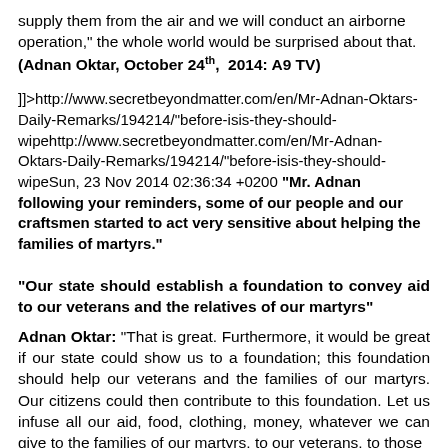supply them from the air and we will conduct an airborne operation," the whole world would be surprised about that. (Adnan Oktar, October 24th, 2014: A9 TV)
]]>http://www.secretbeyondmatter.com/en/Mr-Adnan-Oktars-Daily-Remarks/194214/"before-isis-they-should-wipehttp://www.secretbeyondmatter.com/en/Mr-Adnan-Oktars-Daily-Remarks/194214/"before-isis-they-should-wipeSun, 23 Nov 2014 02:36:34 +0200 "Mr. Adnan following your reminders, some of our people and our craftsmen started to act very sensitive about helping the families of martyrs."
“Our state should establish a foundation to convey aid to our veterans and the relatives of our martyrs”
Adnan Oktar: “That is great. Furthermore, it would be great if our state could show us to a foundation; this foundation should help our veterans and the families of our martyrs. Our citizens could then contribute to this foundation. Let us infuse all our aid, food, clothing, money, whatever we can give to the families of our martyrs, to our veterans, to those